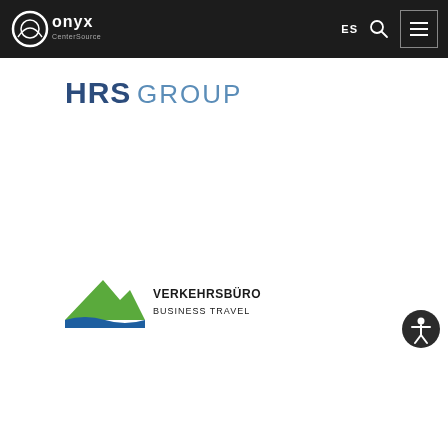Onyx CenterSource navigation bar with logo, ES language selector, search icon, and menu icon
[Figure (logo): HRS GROUP logo - HRS in bold dark blue, GROUP in lighter blue/grey]
[Figure (logo): Verkehrsbüro Business Travel logo - green mountain/triangle shape with blue wave, company name in dark text]
[Figure (other): Accessibility button - dark circle with white person/accessibility icon]